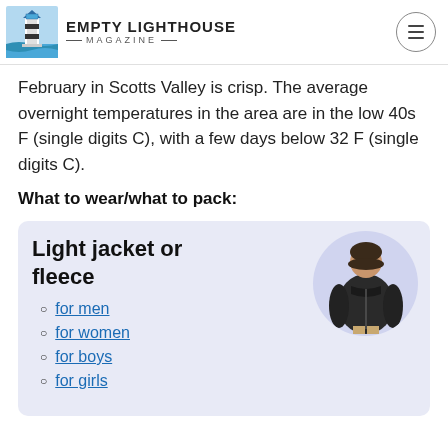EMPTY LIGHTHOUSE MAGAZINE
February in Scotts Valley is crisp. The average overnight temperatures in the area are in the low 40s F (single digits C), with a few days below 32 F (single digits C).
What to wear/what to pack:
[Figure (other): Product card with light lavender background showing 'Light jacket or fleece' title, a circular photo of a woman wearing a dark fleece jacket, and links for men, women, boys, and girls.]
for men
for women
for boys
for girls